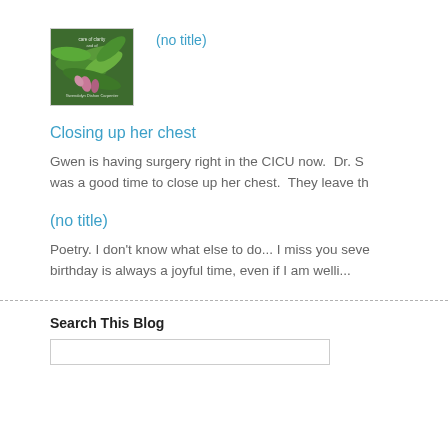[Figure (photo): Thumbnail image of green tropical plant leaves with pink flowers, with text overlay including 'care of clarity' and author name]
(no title)
Closing up her chest
Gwen is having surgery right in the CICU now.  Dr. S was a good time to close up her chest.  They leave th
(no title)
Poetry. I don't know what else to do... I miss you seve birthday is always a joyful time, even if I am welli...
Search This Blog